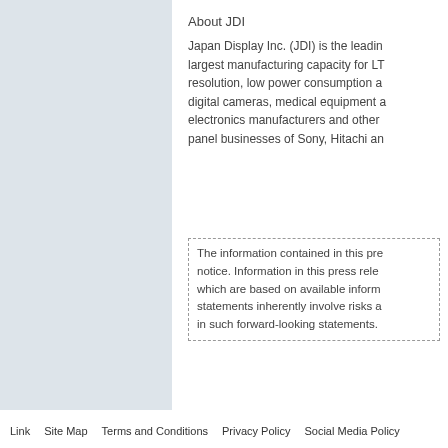About JDI
Japan Display Inc. (JDI) is the leading largest manufacturing capacity for LT resolution, low power consumption a digital cameras, medical equipment a electronics manufacturers and other panel businesses of Sony, Hitachi an
The information contained in this pre notice. Information in this press rele which are based on available inform statements inherently involve risks a in such forward-looking statements.
Link   Site Map   Terms and Conditions   Privacy Policy   Social Media Policy